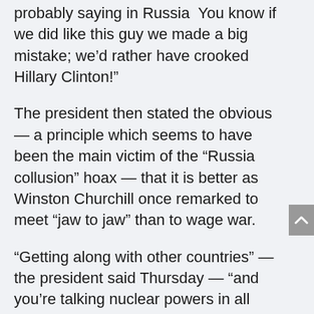probably saying in Russia 'You know if we did like this guy we made a big mistake; we'd rather have crooked Hillary Clinton!'
The president then stated the obvious — a principle which seems to have been the main victim of the "Russia collusion" hoax — that it is better as Winston Churchill once remarked to meet "jaw to jaw" than to wage war.
"Getting along with other countries" — the president said Thursday — "and you're talking nuclear powers in all fairness … getting along is really a nice